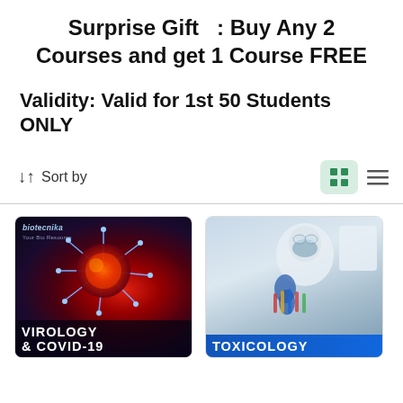Surprise Gift  : Buy Any 2 Courses and get 1 Course FREE
Validity: Valid for 1st 50 Students ONLY
↓↑  Sort by
[Figure (screenshot): Virology & COVID-19 course card with dark background showing a spiky virus illustration and biotecnika logo]
[Figure (screenshot): Toxicology course card showing a lab scientist in protective gear with test tubes]